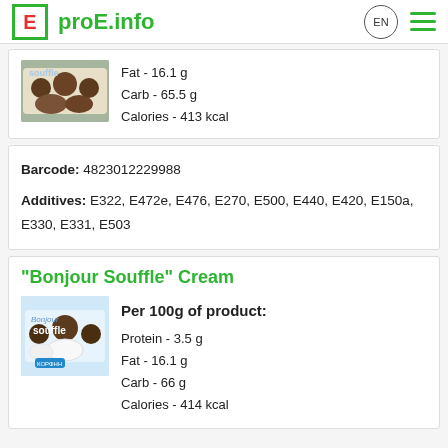proE.info
Fat - 16.1 g
Carb - 65.5 g
Calories - 413 kcal
Barcode: 4823012229988
Additives: E322, E472e, E476, E270, E500, E440, E420, E150a, E330, E331, E503
"Bonjour Souffle" Cream
Per 100g of product:
Protein - 3.5 g
Fat - 16.1 g
Carb - 66 g
Calories - 414 kcal